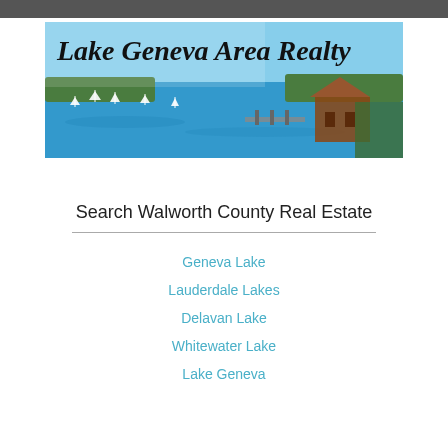[Figure (logo): Lake Geneva Area Realty logo banner with aerial photo of lake, sailboats, marina, and large historic building on the shoreline with surrounding trees]
Search Walworth County Real Estate
Geneva Lake
Lauderdale Lakes
Delavan Lake
Whitewater Lake
Lake Geneva